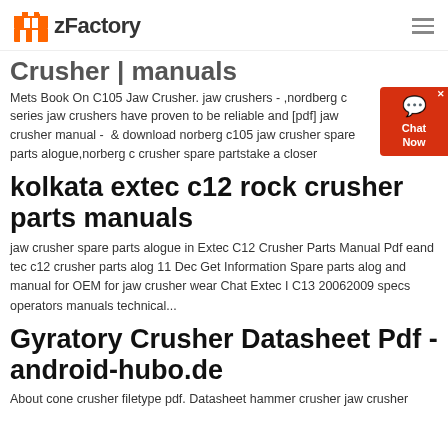zFactory
Crusher | manuals
Mets Book On C105 Jaw Crusher. jaw crushers - ,nordberg c series jaw crushers have proven to be reliable and [pdf] jaw crusher manual - & download norberg c105 jaw crusher spare parts alogue,norberg c crusher spare partstake a closer
kolkata extec c12 rock crusher parts manuals
jaw crusher spare parts alogue in Extec C12 Crusher Parts Manual Pdf eand tec c12 crusher parts alog 11 Dec Get Information Spare parts alog and manual for OEM for jaw crusher wear Chat Extec I C13 20062009 specs operators manuals technical...
Gyratory Crusher Datasheet Pdf - android-hubo.de
About cone crusher filetype pdf. Datasheet hammer crusher jaw crusher